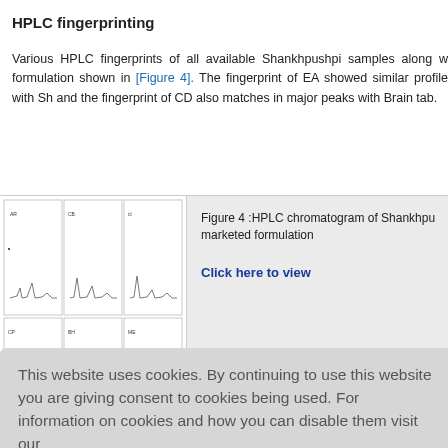HPLC fingerprinting
Various HPLC fingerprints of all available Shankhpushpi samples along w formulation shown in [Figure 4]. The fingerprint of EA showed similar profile with Sh and the fingerprint of CD also matches in major peaks with Brain tab.
[Figure (other): HPLC chromatogram panel showing multiple chromatographic fingerprints in a 2x3 grid layout]
Figure 4 :HPLC chromatogram of Shankhpushpi marketed formulation
Click here to view
This website uses cookies. By continuing to use this website you are giving consent to cookies being used. For information on cookies and how you can disable them visit our
Privacy and Cookie Policy.
AGREE & PROCEED
medicine Shankhpushpi (a brain tonic). Morphologically all the four plants an